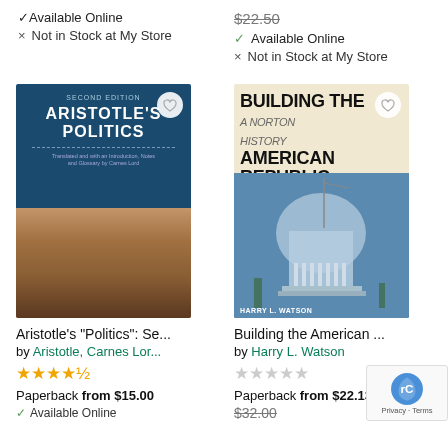✓ Available Online
× Not in Stock at My Store
$22.50 (strikethrough)
✓ Available Online
× Not in Stock at My Store
[Figure (photo): Book cover: Aristotle's Politics, Second Edition. Dark blue cover with classical ancient city illustration at bottom.]
[Figure (photo): Book cover: Building the American Republic. Cream/beige cover with blue-toned illustration of the US Capitol building under construction. Author: Harry L. Watson.]
Aristotle's "Politics": Se...
by Aristotle, Carnes Lor...
★★★★½
Paperback from $15.00
✓ Available Online
Building the American ...
by Harry L. Watson
★★★★★ (empty stars)
Paperback from $22.13
$32.00 (strikethrough)